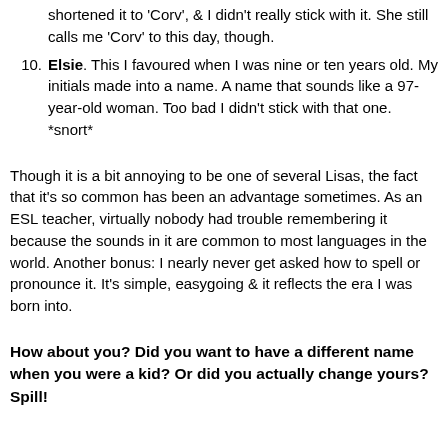shortened it to 'Corv', & I didn't really stick with it. She still calls me 'Corv' to this day, though.
Elsie. This I favoured when I was nine or ten years old. My initials made into a name. A name that sounds like a 97-year-old woman. Too bad I didn't stick with that one. *snort*
Though it is a bit annoying to be one of several Lisas, the fact that it's so common has been an advantage sometimes. As an ESL teacher, virtually nobody had trouble remembering it because the sounds in it are common to most languages in the world. Another bonus: I nearly never get asked how to spell or pronounce it. It's simple, easygoing & it reflects the era I was born into.
How about you? Did you want to have a different name when you were a kid? Or did you actually change yours? Spill!